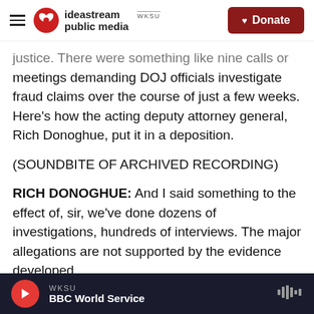ideastream public media WKSU | Donate
justice. There were something like nine calls or meetings demanding DOJ officials investigate fraud claims over the course of just a few weeks. Here's how the acting deputy attorney general, Rich Donoghue, put it in a deposition.
(SOUNDBITE OF ARCHIVED RECORDING)
RICH DONOGHUE: And I said something to the effect of, sir, we've done dozens of investigations, hundreds of interviews. The major allegations are not supported by the evidence developed.
JOHNSON: Donoghue says he told the former
WKSU | BBC World Service